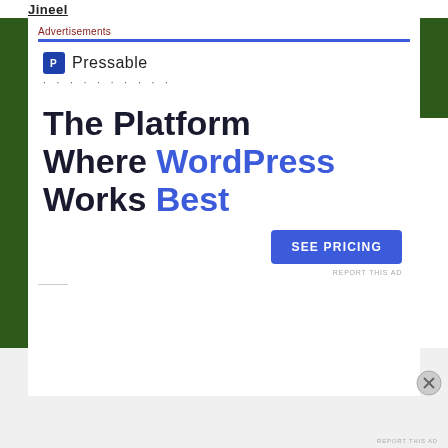Jineel
Advertisements
[Figure (infographic): Pressable advertisement banner. Logo with blue P icon and Pressable text, followed by dotted line, large headline reading 'The Platform Where WordPress Works Best' with 'WordPress' and 'Best' in blue, and a blue 'SEE PRICING' button. Contains 'REPORT THIS AD' link.]
Share this:
Advertisements
REPORT THIS AD